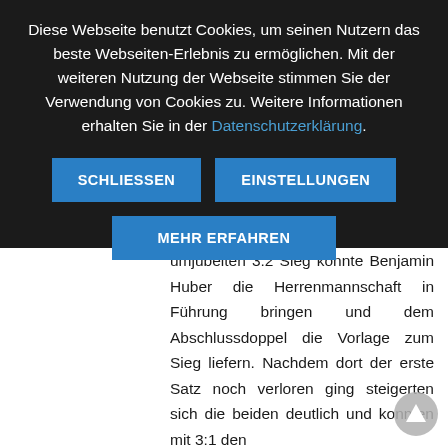Diese Webseite benutzt Cookies, um seinen Nutzern das beste Webseiten-Erlebnis zu ermöglichen. Mit der weiteren Nutzung der Webseite stimmen Sie der Verwendung von Cookies zu. Weitere Informationen erhalten Sie in der Datenschutzerklärung.
SCHLIESSEN
EINSTELLUNGEN
MEHR ERFAHREN
umjubelten 3:2 Sieg konnte Benjamin Huber die Herrenmannschaft in Führung bringen und dem Abschlussdoppel die Vorlage zum Sieg liefern. Nachdem dort der erste Satz noch verloren ging steigerten sich die beiden deutlich und konnten mit 3:1 den